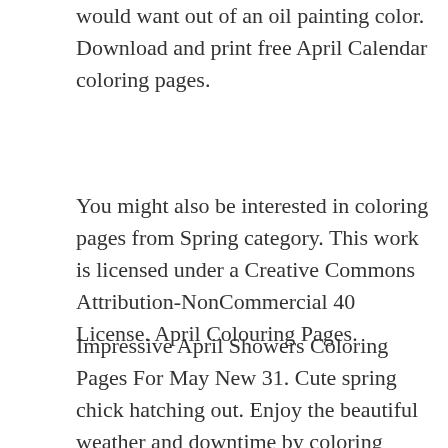would want out of an oil painting color. Download and print free April Calendar coloring pages.
You might also be interested in coloring pages from Spring category. This work is licensed under a Creative Commons Attribution-NonCommercial 40 License. April Colouring Pages.
Impressive April Showers Coloring Pages For May New 31. Cute spring chick hatching out. Enjoy the beautiful weather and downtime by coloring outside.